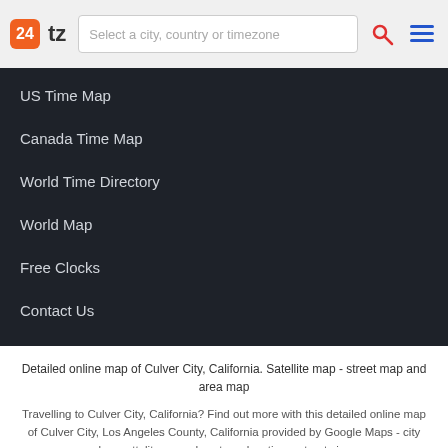24 tz | Select a city, country or timezone
US Time Map
Canada Time Map
World Time Directory
World Map
Free Clocks
Contact Us
Detailed online map of Culver City, California. Satellite map - street map and area map
Travelling to Culver City, California? Find out more with this detailed online map of Culver City, Los Angeles County, California provided by Google Maps - city plan, sattelite map, downtown locations, street view.
Copyright © 2005 - 2022 24TimeZones.com. All rights reserved.